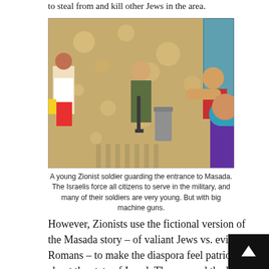to steal from and kill other Jews in the area.
[Figure (photo): A young female Israeli soldier in military uniform holding a rifle, standing near an entrance. Tourists are nearby, one taking a photo with a phone. Sandy textured wall in background with bright sunlight.]
A young Zionist soldier guarding the entrance to Masada. The Israelis force all citizens to serve in the military, and many of their soldiers are very young. But with big machine guns.
However, Zionists use the fictional version of the Masada story – of valiant Jews vs. evil Romans – to make the diaspora feel patriotic about the state of Israel. They spread the lie about Romans attacking innocent Jews at Masada to give a false idea about